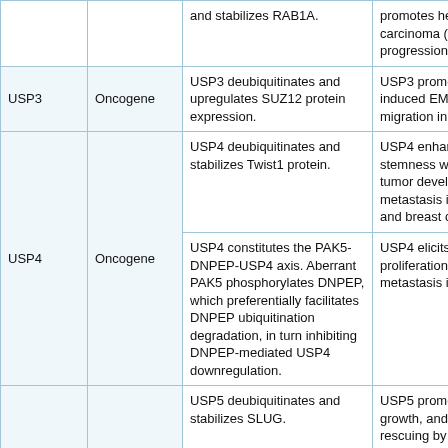| USP | Role | Mechanism | Effect | Ref |
| --- | --- | --- | --- | --- |
|  |  | and stabilizes RAB1A. | promotes hepatocellular carcinoma (HCC) cell progression. | [73] |
| USP3 | Oncogene | USP3 deubiquitinates and upregulates SUZ12 protein expression. | USP3 promotes TGF-β1-induced EMT and cell migration in gastric cancer. | [74] |
| USP4 | Oncogene | USP4 deubiquitinates and stabilizes Twist1 protein. | USP4 enhances cancer cell stemness which mediates tumor development and metastasis in lung cancer and breast cancer. | [75] |
| USP4 | Oncogene | USP4 constitutes the PAK5-DNPEP-USP4 axis. Aberrant PAK5 phosphorylates DNPEP, which preferentially facilitates DNPEP ubiquitination degradation, in turn inhibiting DNPEP-mediated USP4 downregulation. | USP4 elicits cancer cell proliferation, invasion, and metastasis in breast cancer. | [76] |
| USP5 | Oncogene | USP5 deubiquitinates and stabilizes SLUG. | USP5 promotes EMT, tumor growth, and metastasis, rescuing by Formononetin targeting USP5 in hepatocellular carcinoma (HCC). | [77] |
| USP5 | Oncogene | USP5 prohibits β-catenin ubiquitination degradation and upregulates β-catenin | USP5 is overexpressed in non-small cell lung cancer to promote EMT | [78] |